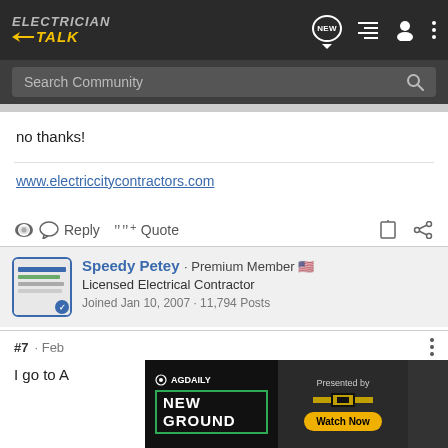Electrician Talk — header with search bar
no thanks!
www.electriccitycontractors.com
Reply  Quote
Speedy Petey · Premium Member
Licensed Electrical Contractor
Joined Jan 10, 2007 · 11,794 Posts
#7 · Feb
I go to A...  ...ponent
[Figure (screenshot): AG Daily New Ground advertisement banner with Chevrolet logo and Watch Now button]